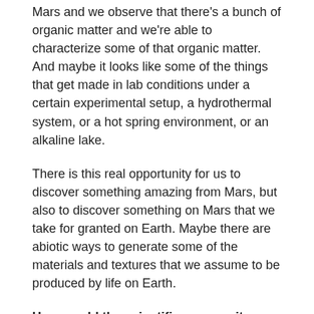Mars and we observe that there's a bunch of organic matter and we're able to characterize some of that organic matter. And maybe it looks like some of the things that get made in lab conditions under a certain experimental setup, a hydrothermal system, or a hot spring environment, or an alkaline lake.
There is this real opportunity for us to discover something amazing from Mars, but also to discover something on Mars that we take for granted on Earth. Maybe there are abiotic ways to generate some of the materials and textures that we assume to be produced by life on Earth.
How would the scientific community come to consensus to declare, "this is a sign of past life"? Is there an official definition of "life"?
Imagine we find a stromatolite. There will be people on the team and off the team that will be ready to declare...